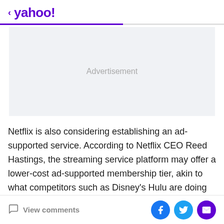< yahoo!
[Figure (other): Advertisement placeholder box with light gray background and 'Advertisement' text centered]
Netflix is also considering establishing an ad-supported service. According to Netflix CEO Reed Hastings, the streaming service platform may offer a lower-cost ad-supported membership tier, akin to what competitors such as Disney's Hulu are doing now.
View comments | Facebook share | Twitter share | Email share